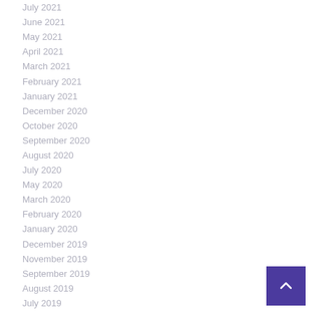July 2021
June 2021
May 2021
April 2021
March 2021
February 2021
January 2021
December 2020
October 2020
September 2020
August 2020
July 2020
May 2020
March 2020
February 2020
January 2020
December 2019
November 2019
September 2019
August 2019
July 2019